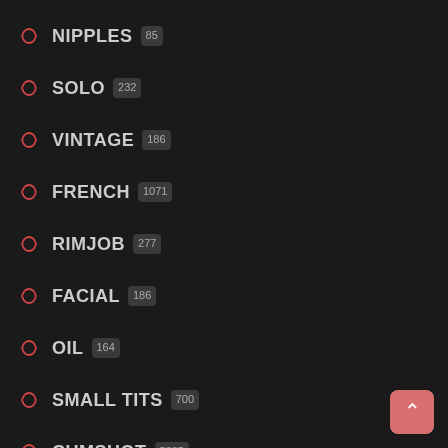NIPPLES 85
SOLO 232
VINTAGE 186
FRENCH 1071
RIMJOB 277
FACIAL 186
OIL 164
SMALL TITS 700
CUMSHOT 5385